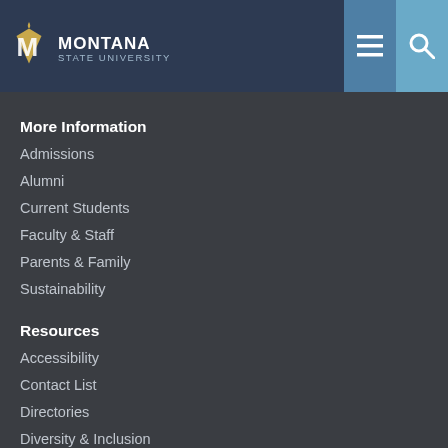Montana State University
More Information
Admissions
Alumni
Current Students
Faculty & Staff
Parents & Family
Sustainability
Resources
Accessibility
Contact List
Directories
Diversity & Inclusion
Jobs
Legal & Privacy Policy